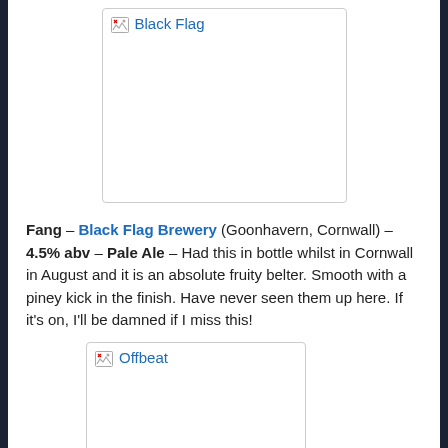[Figure (other): Placeholder image box labeled 'Black Flag']
Fang – Black Flag Brewery (Goonhavern, Cornwall) – 4.5% abv – Pale Ale – Had this in bottle whilst in Cornwall in August and it is an absolute fruity belter. Smooth with a piney kick in the finish. Have never seen them up here. If it's on, I'll be damned if I miss this!
[Figure (other): Placeholder image box labeled 'Offbeat']
Disfunctional Functional IPA – Offbeat (Crewe) – 4.8% – IPA – This San Diego inspired IPA is one I'm yet to have from one of my